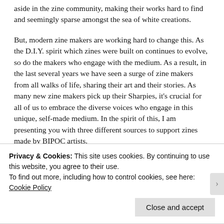aside in the zine community, making their works hard to find and seemingly sparse amongst the sea of white creations.
But, modern zine makers are working hard to change this. As the D.I.Y. spirit which zines were built on continues to evolve, so do the makers who engage with the medium. As a result, in the last several years we have seen a surge of zine makers from all walks of life, sharing their art and their stories. As many new zine makers pick up their Sharpies, it's crucial for all of us to embrace the diverse voices who engage in this unique, self-made medium. In the spirit of this, I am presenting you with three different sources to support zines made by BIPOC artists.
Black Trans Futures Zine
Privacy & Cookies: This site uses cookies. By continuing to use this website, you agree to their use.
To find out more, including how to control cookies, see here:
Cookie Policy
Close and accept